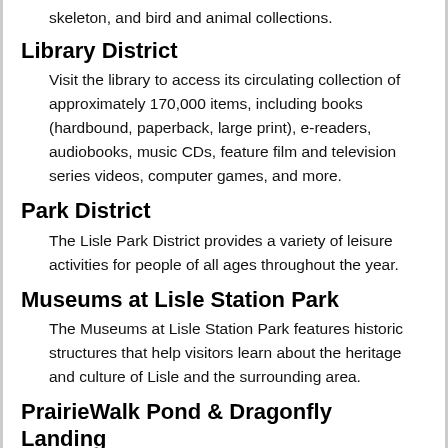skeleton, and bird and animal collections.
Library District
Visit the library to access its circulating collection of approximately 170,000 items, including books (hardbound, paperback, large print), e-readers, audiobooks, music CDs, feature film and television series videos, computer games, and more.
Park District
The Lisle Park District provides a variety of leisure activities for people of all ages throughout the year.
Museums at Lisle Station Park
The Museums at Lisle Station Park features historic structures that help visitors learn about the heritage and culture of Lisle and the surrounding area.
PrairieWalk Pond & Dragonfly Landing
PrairieWalk Pond provides a recreational...